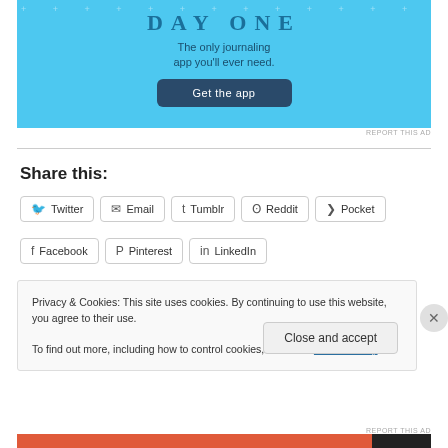[Figure (screenshot): Day One app advertisement banner with light blue background. Text reads 'DAY ONE' in large letters, 'The only journaling app you'll ever need.' and a dark blue button labeled 'Get the app'.]
REPORT THIS AD
Share this:
Twitter
Email
Tumblr
Reddit
Pocket
Facebook
Pinterest
LinkedIn
Privacy & Cookies: This site uses cookies. By continuing to use this website, you agree to their use. To find out more, including how to control cookies, see here: Cookie Policy
Close and accept
REPORT THIS AD